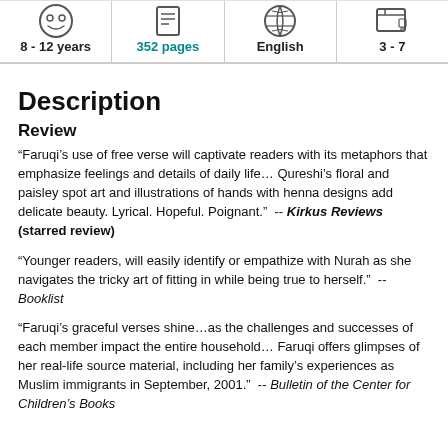| Age Range | Pages | Language | Grade Range |
| --- | --- | --- | --- |
| 8 - 12 years | 352 pages | English | 3 - 7 |
Description
Review
“Faruqi’s use of free verse will captivate readers with its metaphors that emphasize feelings and details of daily life… Qureshi’s floral and paisley spot art and illustrations of hands with henna designs add delicate beauty. Lyrical. Hopeful. Poignant.”  -- Kirkus Reviews (starred review)
“Younger readers, will easily identify or empathize with Nurah as she navigates the tricky art of fitting in while being true to herself.”  -- Booklist
“Faruqi’s graceful verses shine…as the challenges and successes of each member impact the entire household… Faruqi offers glimpses of her real-life source material, including her family’s experiences as Muslim immigrants in September, 2001.”  -- Bulletin of the Center for Children’s Books